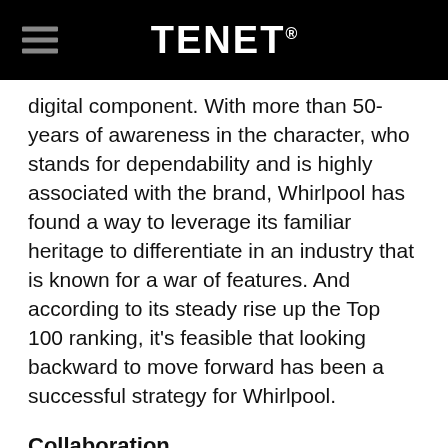TENET®
digital component. With more than 50-years of awareness in the character, who stands for dependability and is highly associated with the brand, Whirlpool has found a way to leverage its familiar heritage to differentiate in an industry that is known for a war of features. And according to its steady rise up the Top 100 ranking, it's feasible that looking backward to move forward has been a successful strategy for Whirlpool.
Collaboration